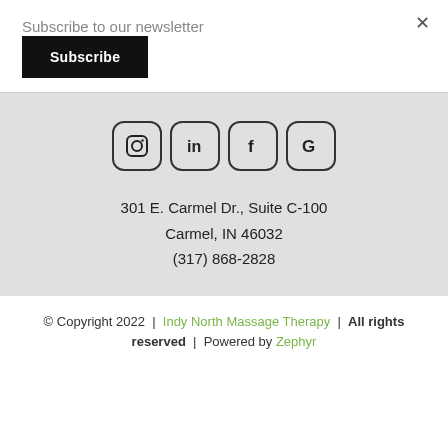Subscribe to our newsletter
Subscribe
[Figure (infographic): Four rounded square social media icons in a row: Instagram (camera), LinkedIn (in), Facebook (f), Google (G)]
301 E. Carmel Dr., Suite C-100
Carmel, IN 46032
(317) 868-2828
© Copyright 2022  |  Indy North Massage Therapy  |  All rights reserved  |  Powered by Zephyr